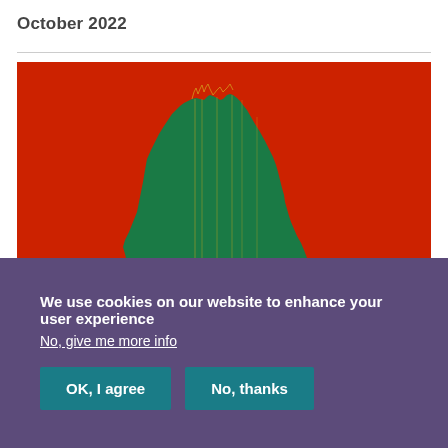October 2022
[Figure (other): A data visualization image showing a green mountain-like shape against a red background, resembling a waveform or area chart visualization with irregular jagged edges.]
We use cookies on our website to enhance your user experience
No, give me more info
OK, I agree   No, thanks